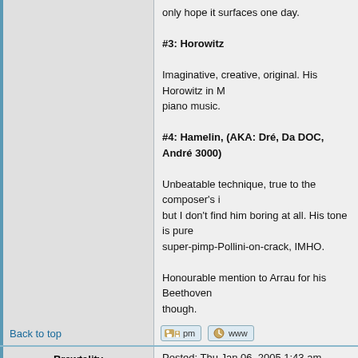only hope it surfaces one day.

#3: Horowitz

Imaginative, creative, original. His Horowitz in M... piano music.

#4: Hamelin, (AKA: Dré, Da DOC, André 3000)

Unbeatable technique, true to the composer's i... but I don't find him boring at all. His tone is pure... super-pimp-Pollini-on-crack, IMHO.

Honourable mention to Arrau for his Beethoven... though.
Back to top
Brewtality
Registered User

Age: 19
Gender:
Joined: 26 Aug 2004
Posts: 183
Karma: +7/-2
Location: Australia
Posted: Thu Jan 06, 2005 1:43 am    Post subject:

I like most of the great pianists (not to be confu... but my favourite has always been Horowitz.
Back to top
Thracozaag
Registered User
Posted: Thu Jan 06, 2005 3:34 am    Post subject: